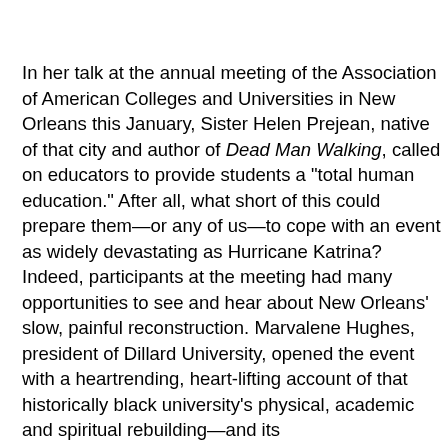In her talk at the annual meeting of the Association of American Colleges and Universities in New Orleans this January, Sister Helen Prejean, native of that city and author of Dead Man Walking, called on educators to provide students a "total human education." After all, what short of this could prepare them—or any of us—to cope with an event as widely devastating as Hurricane Katrina? Indeed, participants at the meeting had many opportunities to see and hear about New Orleans' slow, painful reconstruction. Marvalene Hughes, president of Dillard University, opened the event with a heartrending, heart-lifting account of that historically black university's physical, academic and spiritual rebuilding—and its